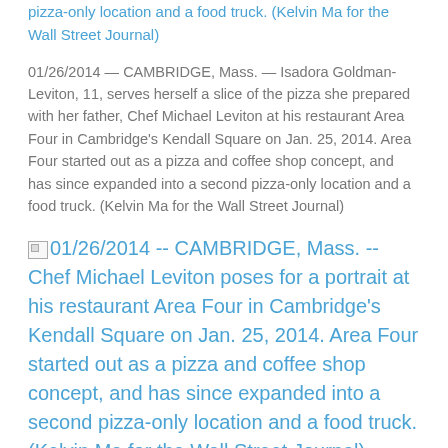pizza-only location and a food truck. (Kelvin Ma for the Wall Street Journal)
01/26/2014 — CAMBRIDGE, Mass. — Isadora Goldman-Leviton, 11, serves herself a slice of the pizza she prepared with her father, Chef Michael Leviton at his restaurant Area Four in Cambridge's Kendall Square on Jan. 25, 2014. Area Four started out as a pizza and coffee shop concept, and has since expanded into a second pizza-only location and a food truck. (Kelvin Ma for the Wall Street Journal)
01/26/2014 -- CAMBRIDGE, Mass. -- Chef Michael Leviton poses for a portrait at his restaurant Area Four in Cambridge's Kendall Square on Jan. 25, 2014. Area Four started out as a pizza and coffee shop concept, and has since expanded into a second pizza-only location and a food truck. (Kelvin Ma for the Wall Street Journal)
01/26/2014 — CAMBRIDGE, Mass. — Chef Michael Leviton poses for a portrait at his restaurant Area Four in Cambridge's Kendall Square on Jan. 25, 2014. Area Four started out as a pizza and coffee shop concept, and has since expanded into a second pizza-only location and a food truck. (Kelvin Ma for the Wall Street Journal)
Be sure to check out the article while it's still in front of the paywall.
Many thanks to my assigning editor Kate Lord, who has since jumped